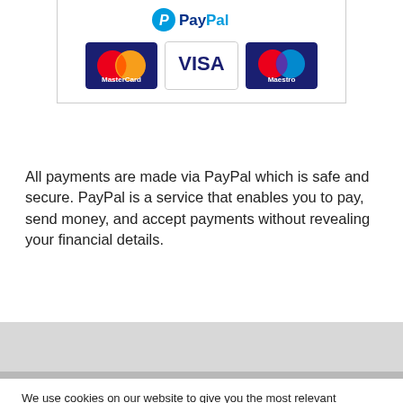[Figure (logo): PayPal payment box showing PayPal logo at top, with MasterCard, VISA, and Maestro card logos below, inside a rounded rectangle border]
All payments are made via PayPal which is safe and secure. PayPal is a service that enables you to pay, send money, and accept payments without revealing your financial details.
We use cookies on our website to give you the most relevant experience by remembering your preferences and repeat visits. By clicking “Accept”, you consent to the use of ALL the cookies.
Cookie settings  ACCEPT